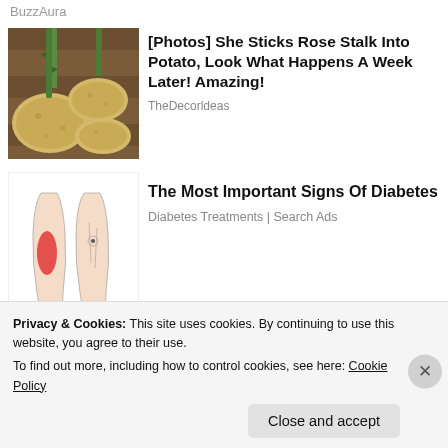BuzzAura
[Figure (photo): Potatoes with rose stalks inserted into them on a wooden surface]
[Photos] She Sticks Rose Stalk Into Potato, Look What Happens A Week Later! Amazing!
TheDecorldeas
[Figure (illustration): Medical illustration of two human legs showing red highlighted areas indicating diabetic symptoms]
The Most Important Signs Of Diabetes
Diabetes Treatments | Search Ads
Share this
Privacy & Cookies: This site uses cookies. By continuing to use this website, you agree to their use.
To find out more, including how to control cookies, see here: Cookie Policy
Close and accept